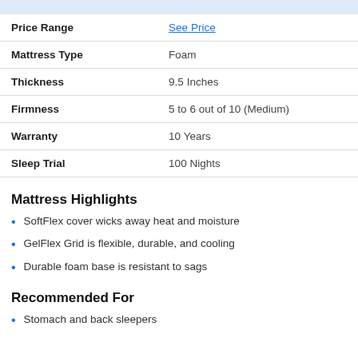| Attribute | Value |
| --- | --- |
| Price Range | See Price |
| Mattress Type | Foam |
| Thickness | 9.5 Inches |
| Firmness | 5 to 6 out of 10 (Medium) |
| Warranty | 10 Years |
| Sleep Trial | 100 Nights |
Mattress Highlights
SoftFlex cover wicks away heat and moisture
GelFlex Grid is flexible, durable, and cooling
Durable foam base is resistant to sags
Recommended For
Stomach and back sleepers